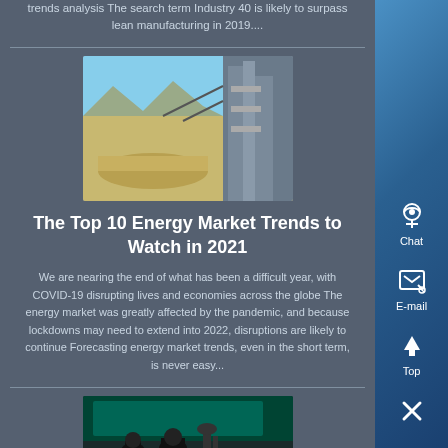trends analysis The search term Industry 40 is likely to surpass lean manufacturing in 2019....
[Figure (photo): Outdoor industrial or energy infrastructure equipment in a desert landscape]
The Top 10 Energy Market Trends to Watch in 2021
We are nearing the end of what has been a difficult year, with COVID-19 disrupting lives and economies across the globe The energy market was greatly affected by the pandemic, and because lockdowns may need to extend into 2022, disruptions are likely to continue Forecasting energy market trends, even in the short term, is never easy...
[Figure (photo): People in a room with screens or displays, appears to be a technology or operations setting]